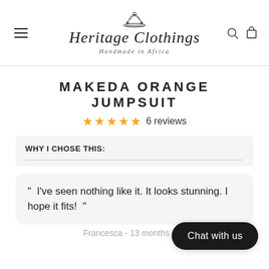Heritage Clothings — Handmade in Africa
MAKEDA ORANGE JUMPSUIT
★★★★★ 6 reviews
WHY I CHOSE THIS:
" I've seen nothing like it. It looks stunning. I hope it fits! "
Francesca - 13 months ago
Chat with us